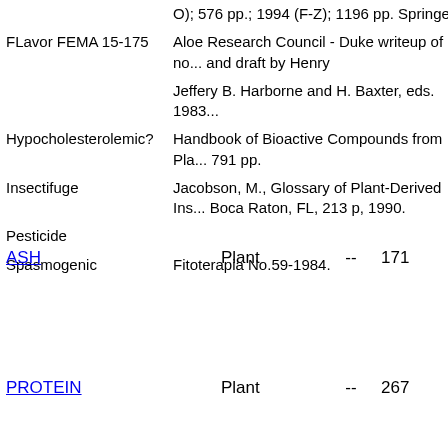| Activity/Item | Reference/Description |
| --- | --- |
|  | O); 576 pp.; 1994 (F-Z); 1196 pp. Springer-... |
| FLavor FEMA 15-175 | Aloe Research Council - Duke writeup of no... and draft by Henry |
|  | Jeffery B. Harborne and H. Baxter, eds. 1983... |
| Hypocholesterolemic? | Handbook of Bioactive Compounds from Pla... 791 pp. |
| Insectifuge | Jacobson, M., Glossary of Plant-Derived Ins... Boca Raton, FL, 213 p, 1990. |
| Pesticide |  |
| Spasmogenic | Fitoterapia No.59-1984. |
ASH    Plant    --    171
PROTEIN    Plant    --    267